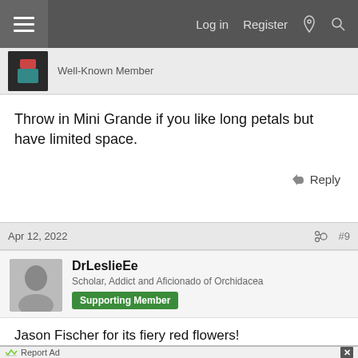Log in  Register
Well-Known Member
Throw in Mini Grande if you like long petals but have limited space.
Apr 12, 2022   #9
DrLeslieEe
Scholar, Addict and Aficionado of Orchidacea
Supporting Member
Jason Fischer for its fiery red flowers!
Report Ad